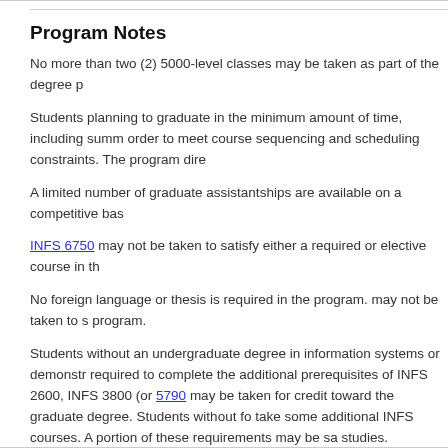Program Notes
No more than two (2) 5000-level classes may be taken as part of the degree p
Students planning to graduate in the minimum amount of time, including summ order to meet course sequencing and scheduling constraints. The program dire
A limited number of graduate assistantships are available on a competitive bas
INFS 6750 may not be taken to satisfy either a required or elective course in th
No foreign language or thesis is required in the program. may not be taken to s program.
Students without an undergraduate degree in information systems or demonstr required to complete the additional prerequisites of INFS 2600, INFS 3800 (or 5790 may be taken for credit toward the graduate degree. Students without fo take some additional INFS courses. A portion of these requirements may be sa studies.